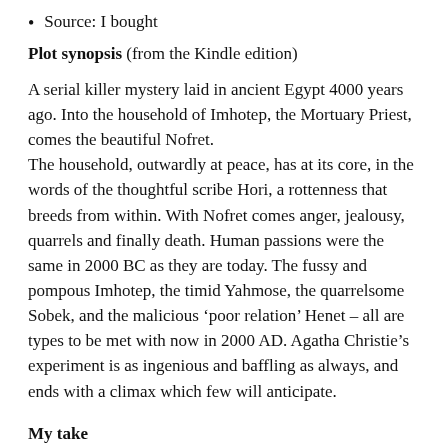Source: I bought
Plot synopsis (from the Kindle edition)
A serial killer mystery laid in ancient Egypt 4000 years ago. Into the household of Imhotep, the Mortuary Priest, comes the beautiful Nofret.
The household, outwardly at peace, has at its core, in the words of the thoughtful scribe Hori, a rottenness that breeds from within. With Nofret comes anger, jealousy, quarrels and finally death. Human passions were the same in 2000 BC as they are today. The fussy and pompous Imhotep, the timid Yahmose, the quarrelsome Sobek, and the malicious ‘poor relation’ Henet – all are types to be met with now in 2000 AD. Agatha Christie’s experiment is as ingenious and baffling as always, and ends with a climax which few will anticipate.
My take
I think I have rarely enjoyed a Christie title more than this one. But I don't remember ever reading it before and that may be the clue to why it felt so fresh.